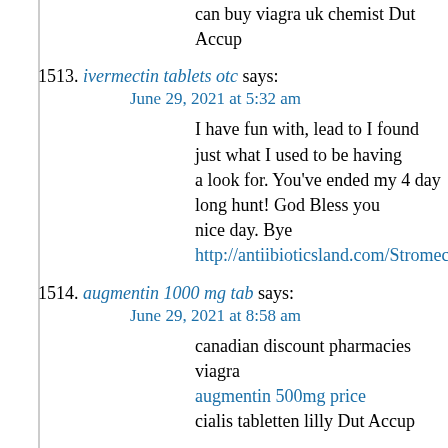can buy viagra uk chemist Dut Accup
1513. ivermectin tablets otc says:
June 29, 2021 at 5:32 am
I have fun with, lead to I found just what I used to be having a look for. You've ended my 4 day long hunt! God Bless you nice day. Bye http://antiibioticsland.com/Stromectol.htm
1514. augmentin 1000 mg tab says:
June 29, 2021 at 8:58 am
canadian discount pharmacies viagra
augmentin 500mg price
cialis tabletten lilly Dut Accup
1515. hydroxychloroquine manufacturer stock says:
June 29, 2021 at 7:48 pm
Hi there! This is kind of off topic but I need some guidance f Is it very hard to set up your own blog? I'm not very techincal but I can figure things out pretty quick. I'm thinking about making my own but I'm not sure where to Do you have any points or suggestions? With thanks http://...